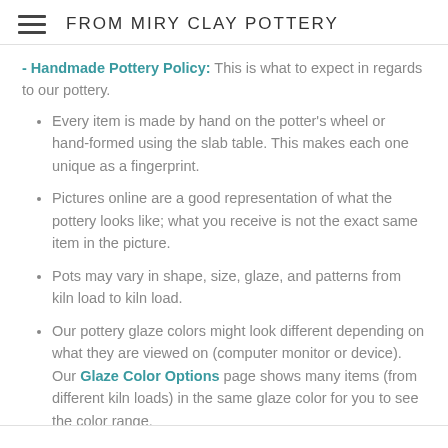FROM MIRY CLAY POTTERY
- Handmade Pottery Policy: This is what to expect in regards to our pottery.
Every item is made by hand on the potter's wheel or hand-formed using the slab table. This makes each one unique as a fingerprint.
Pictures online are a good representation of what the pottery looks like; what you receive is not the exact same item in the picture.
Pots may vary in shape, size, glaze, and patterns from kiln load to kiln load.
Our pottery glaze colors might look different depending on what they are viewed on (computer monitor or device). Our Glaze Color Options page shows many items (from different kiln loads) in the same glaze color for you to see the color range.